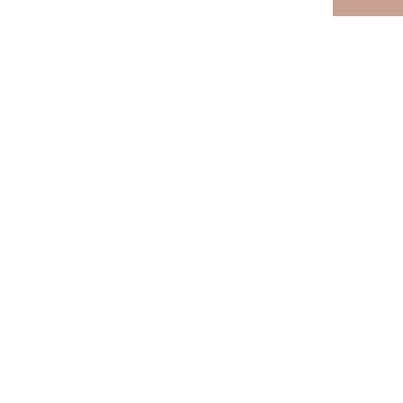[Figure (photo): Partial view of a photo or decorative element in the top right corner]
No one writ only mean w squares of I letters to ma paper or fee I can be gui about? I pre words. No c a big damn But reading Flossing. W writing is th single mome hands restin